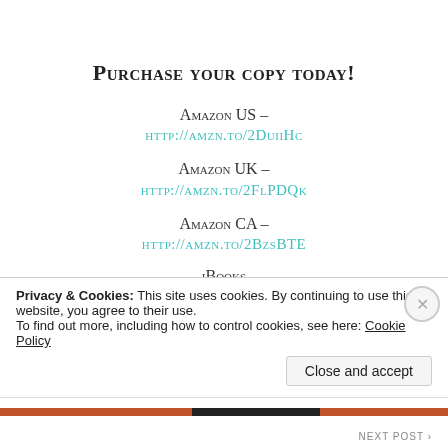Purchase your copy today!
Amazon US – HTTP://AMZN.TO/2DUIIHC
Amazon UK – HTTP://AMZN.TO/2FLPDQK
Amazon CA – HTTP://AMZN.TO/2BZSBTE
iBooks
Privacy & Cookies: This site uses cookies. By continuing to use this website, you agree to their use.
To find out more, including how to control cookies, see here: Cookie Policy
Close and accept